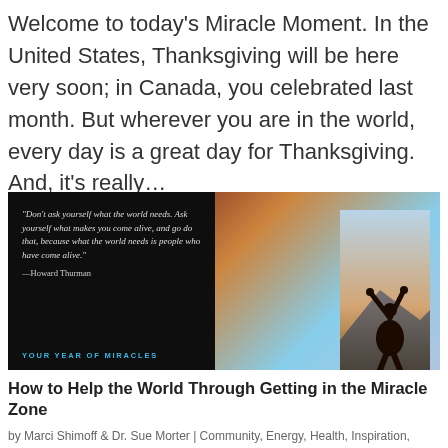Welcome to today's Miracle Moment. In the United States, Thanksgiving will be here very soon; in Canada, you celebrated last month. But wherever you are in the world, every day is a great day for Thanksgiving. And, it's really…
[Figure (photo): Split image: left half dark background with italic quote 'Don't ask yourself what the world needs. Ask yourself what makes you come alive, and go do that, because what the world needs is people who have come alive.' attributed to Howard Thurman, with 'YOUR YEAR OF MIRACLES' text in cyan below; right half shows silhouette of person with arms raised against a sky and mountain background.]
How to Help the World Through Getting in the Miracle Zone
by Marci Shimoff & Dr. Sue Morter | Community, Energy, Health, Inspiration, Miracle Moment,